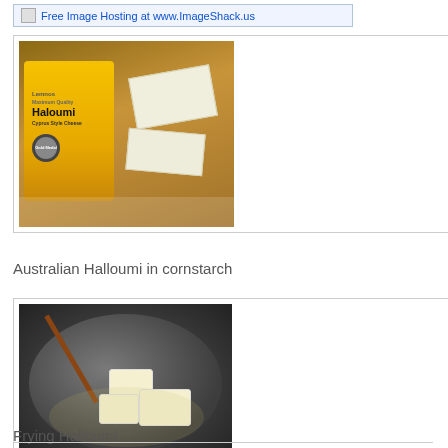[Figure (screenshot): Free Image Hosting at www.ImageShack.us banner with broken image icon]
[Figure (photo): Australian Halloumi cheese (Lemnos brand, Cyprus Style Cheese) package next to blocks of halloumi cheese dusted with cornstarch on a wooden cutting board]
Australian Halloumi in cornstarch
[Figure (photo): Two photos side by side: left shows white halloumi cheese cubes in a dark non-stick wok/pan with chopsticks; right shows golden-fried halloumi pieces in a dark pan]
Frying Halloumi